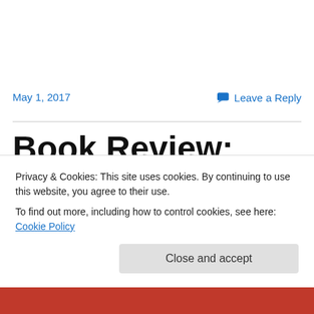May 1, 2017
Leave a Reply
Book Review: “Linda McCartney’s Sixties: Portrait of an Era”
Privacy & Cookies: This site uses cookies. By continuing to use this website, you agree to their use.
To find out more, including how to control cookies, see here: Cookie Policy
Close and accept